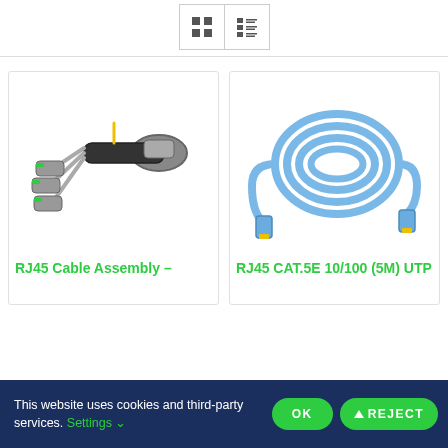[Figure (screenshot): Toolbar with grid view and list view toggle buttons]
[Figure (photo): RJ45 Cable Assembly product photo showing a black multi-connector cable harness with yellow and gray connectors]
RJ45 Cable Assembly –
[Figure (photo): RJ45 CAT.5E 10/100 (5M) UTP product photo showing a coiled blue Ethernet patch cable]
RJ45 CAT.5E 10/100 (5M) UTP
This website uses cookies and third-party services. Settings
OK
REJECT